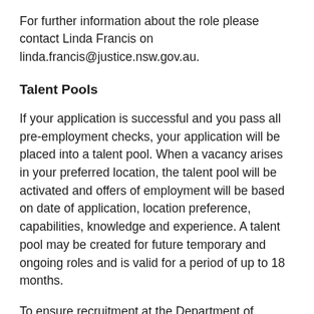For further information about the role please contact Linda Francis on linda.francis@justice.nsw.gov.au.
Talent Pools
If your application is successful and you pass all pre-employment checks, your application will be placed into a talent pool. When a vacancy arises in your preferred location, the talent pool will be activated and offers of employment will be based on date of application, location preference, capabilities, knowledge and experience. A talent pool may be created for future temporary and ongoing roles and is valid for a period of up to 18 months.
To ensure recruitment at the Department of Communities and Justice continues without interruption, some interviews and assessments may be performed using alternative methods. This may include video interviewing, telephone interviewing and